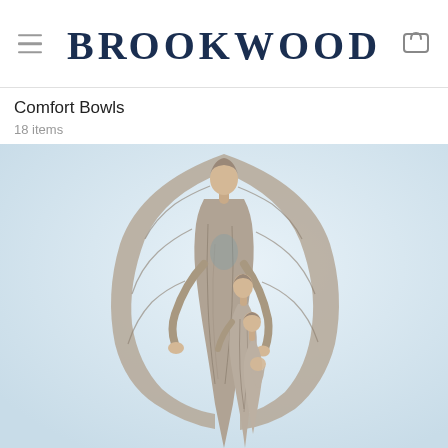BROOKWOOD
Comfort Bowls
18 items
[Figure (photo): A sculptural figurine showing an angel with large wings standing behind and embracing two smaller figures, rendered in a weathered grey/taupe carved wood style on a light blue-grey background.]